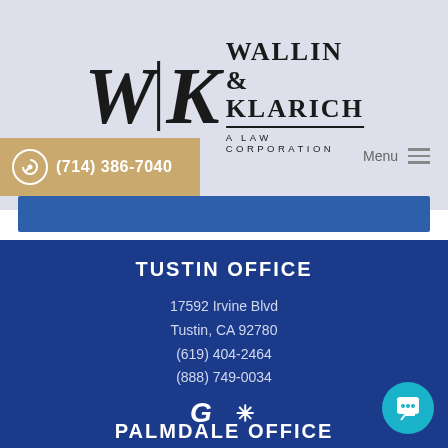[Figure (logo): Wallin & Klarich A Law Corporation logo with WK initials and vertical divider]
(714) 386-7040
Menu
TUSTIN OFFICE
17592 Irvine Blvd
Tustin, CA 92780
(619) 404-2464
(888) 749-0034
PALMDALE OFFICE